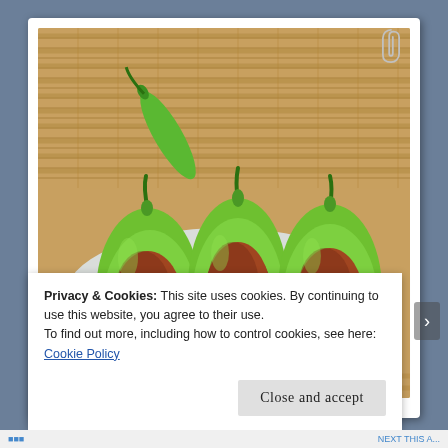[Figure (photo): Three stuffed green peppers (chili peppers filled with minced meat) arranged on a white surface with a bamboo mat background. One whole green chili pepper rests on top left. The peppers are halved and filled with a reddish-brown meat filling.]
Privacy & Cookies: This site uses cookies. By continuing to use this website, you agree to their use.
To find out more, including how to control cookies, see here: Cookie Policy
Close and accept